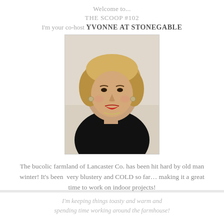Welcome to...
THE SCOOP #102
I'm your co-host YVONNE AT STONEGABLE
[Figure (photo): Headshot of a blonde woman wearing a black top, smiling at the camera, studio/home background]
The bucolic farmland of Lancaster Co. has been hit hard by old man winter! It's been very blustery and COLD so far… making it a great time to work on indoor projects!
I'm keeping things toasty and warm and spending time working around the farmhouse!